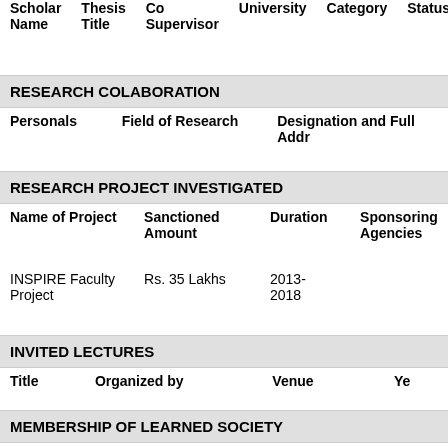| Scholar Name | Thesis Title | Co Supervisor | University | Category | Status | Co in |
| --- | --- | --- | --- | --- | --- | --- |
RESEARCH COLABORATION
| Personals | Field of Research | Designation and Full Addr |
| --- | --- | --- |
RESEARCH PROJECT INVESTIGATED
| Name of Project | Sanctioned Amount | Duration | Sponsoring Agencies |
| --- | --- | --- | --- |
| INSPIRE Faculty Project | Rs. 35 Lakhs | 2013-2018 |  |
INVITED LECTURES
| Title | Organized by | Venue | Ye |
| --- | --- | --- | --- |
MEMBERSHIP OF LEARNED SOCIETY